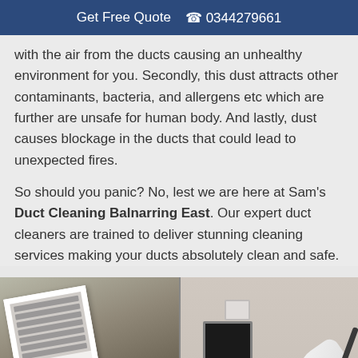Get Free Quote  📞 0344279661
with the air from the ducts causing an unhealthy environment for you. Secondly, this dust attracts other contaminants, bacteria, and allergens etc which are further are unsafe for human body. And lastly, dust causes blockage in the ducts that could lead to unexpected fires.
So should you panic? No, lest we are here at Sam's Duct Cleaning Balnarring East. Our expert duct cleaners are trained to deliver stunning cleaning services making your ducts absolutely clean and safe.
[Figure (photo): Two photos side by side showing duct cleaning: left photo shows a dirty dusty vent/duct being removed from wall, right photo shows a duct cleaning brush being used near a wall vent.]